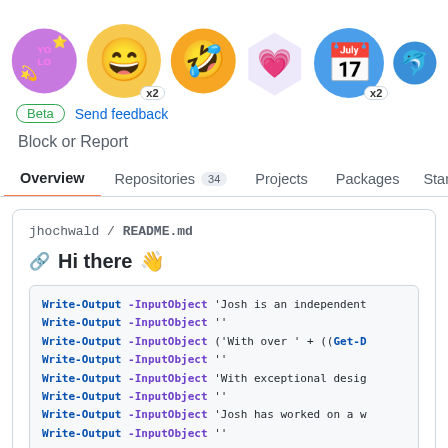[Figure (illustration): Row of emoji achievement badges/circles: YOLO badge, smiling emoji x2, warrior emoji, heart badge, calendar emoji x2, and a blue partial circle at right edge]
Beta  Send feedback
Block or Report
Overview   Repositories 34   Projects   Packages   Star
jhochwald / README.md
Hi there 👋
Write-Output -InputObject 'Josh is an independent
Write-Output -InputObject ''
Write-Output -InputObject ('With over ' + ((Get-D
Write-Output -InputObject ''
Write-Output -InputObject 'With exceptional desig
Write-Output -InputObject ''
Write-Output -InputObject 'Josh has worked on a w
Write-Output -InputObject ''